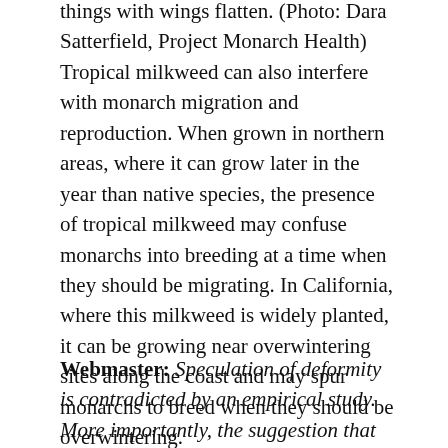things with wings flatten. (Photo: Dara Satterfield, Project Monarch Health) Tropical milkweed can also interfere with monarch migration and reproduction. When grown in northern areas, where it can grow later in the year than native species, the presence of tropical milkweed may confuse monarchs into breeding at a time when they should be migrating. In California, where this milkweed is widely planted, it can be growing near overwintering sites along the coast and may spur monarchs to breed when they should be overwintering.
Webmaster: Speculation of deformity is contradicted by an empirical study. More importantly, the suggestion that the monarch